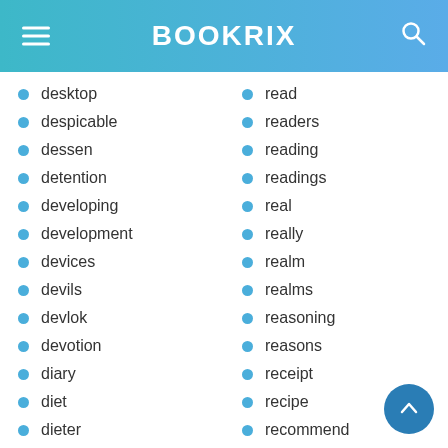BOOKRIX
desktop
despicable
dessen
detention
developing
development
devices
devils
devlok
devotion
diary
diet
dieter
read
readers
reading
readings
real
really
realm
realms
reasoning
reasons
receipt
recipe
recommend